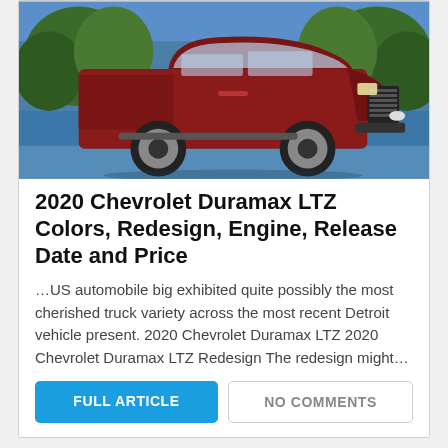[Figure (photo): Red 2020 Chevrolet Silverado HD Duramax LTZ pickup truck shown at the Detroit Auto Show, displayed against a scenic blue lake and green trees background.]
2020 Chevrolet Duramax LTZ Colors, Redesign, Engine, Release Date and Price
…US automobile big exhibited quite possibly the most cherished truck variety across the most recent Detroit vehicle present. 2020 Chevrolet Duramax LTZ 2020 Chevrolet Duramax LTZ Redesign The redesign might…
FULL ARTICLE
NO COMMENTS